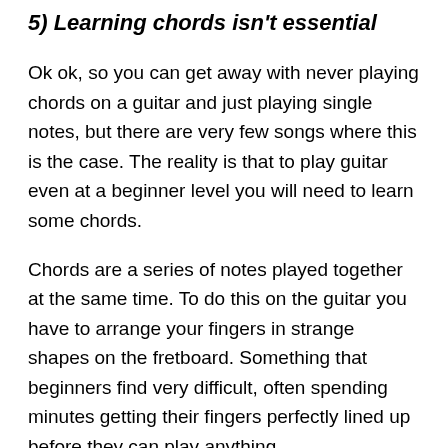5) Learning chords isn't essential
Ok ok, so you can get away with never playing chords on a guitar and just playing single notes, but there are very few songs where this is the case. The reality is that to play guitar even at a beginner level you will need to learn some chords.
Chords are a series of notes played together at the same time. To do this on the guitar you have to arrange your fingers in strange shapes on the fretboard. Something that beginners find very difficult, often spending minutes getting their fingers perfectly lined up before they can play anything.